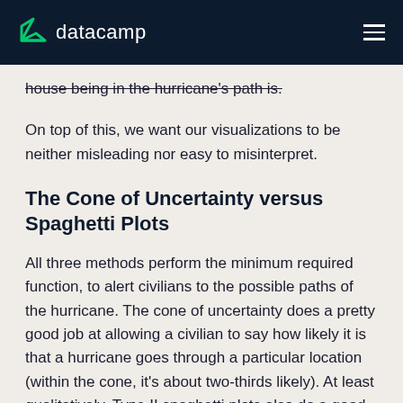datacamp
house being in the hurricane's path is.
On top of this, we want our visualizations to be neither misleading nor easy to misinterpret.
The Cone of Uncertainty versus Spaghetti Plots
All three methods perform the minimum required function, to alert civilians to the possible paths of the hurricane. The cone of uncertainty does a pretty good job at allowing a civilian to say how likely it is that a hurricane goes through a particular location (within the cone, it's about two-thirds likely). At least qualitatively, Type II spaghetti plots also do a good job here, as described above, 'if more of the trajectories go through location A than through location B, then